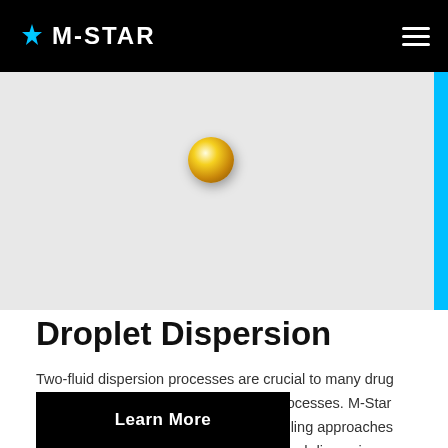M-STAR
[Figure (illustration): Background image area with a gold/yellow spherical droplet orb positioned in the upper-left portion of a light gray image region, with a cyan vertical bar on the right edge.]
Droplet Dispersion
Two-fluid dispersion processes are crucial to many drug product and chemical manufacturing processes. M-Star CFD uses rigorous first-principles modeling approaches for predicting droplet size distributions and dispersion physics.
Learn More